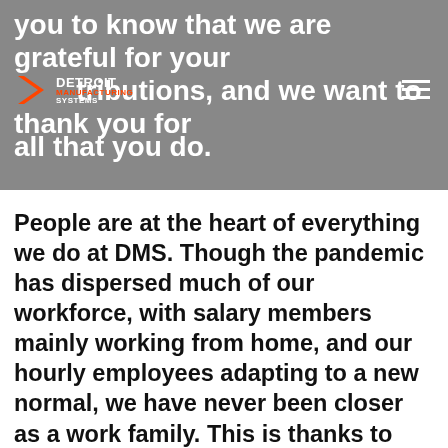you to know that we are grateful for your contributions, and we want to thank you for all that you do.
[Figure (logo): Detroit Manufacturing Systems logo with chevron icon, white text on grey background]
People are at the heart of everything we do at DMS. Though the pandemic has dispersed much of our workforce, with salary members mainly working from home, and our hourly employees adapting to a new normal, we have never been closer as a work family. This is thanks to the herculean efforts of many- but our IT Department, and our front-line supervisors deserve special recognition. They are working tirelessly to ensure that our operations remain efficient and our team members are taken care of- and they are